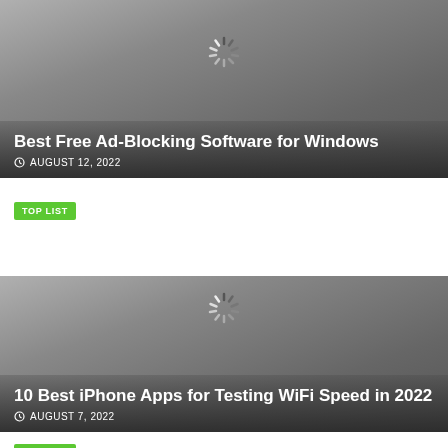[Figure (screenshot): Article card with gray gradient background and loading spinner for 'Best Free Ad-Blocking Software for Windows']
Best Free Ad-Blocking Software for Windows
AUGUST 12, 2022
TOP LIST
[Figure (screenshot): Article card with gray gradient background and loading spinner for '10 Best iPhone Apps for Testing WiFi Speed in 2022']
10 Best iPhone Apps for Testing WiFi Speed in 2022
AUGUST 7, 2022
TOP LIST